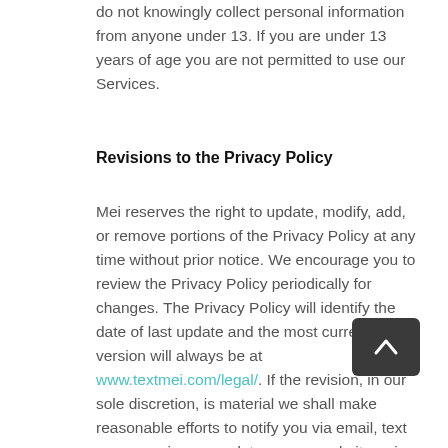do not knowingly collect personal information from anyone under 13. If you are under 13 years of age you are not permitted to use our Services.
Revisions to the Privacy Policy
Mei reserves the right to update, modify, add, or remove portions of the Privacy Policy at any time without prior notice. We encourage you to review the Privacy Policy periodically for changes. The Privacy Policy will identify the date of last update and the most current version will always be at www.textmei.com/legal/. If the revision, in our sole discretion, is material we shall make reasonable efforts to notify you via email, text message, in-app update, on our website or in any other manner we deem appropriate. By continuing to access or use the Services after those revisions become effective you agree to be bound by the revised Privacy Policy.